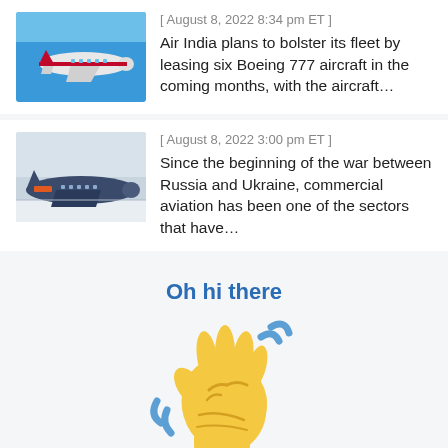[Figure (photo): Thumbnail photo of an airplane (Air India) in flight against blue sky]
[ August 8, 2022 8:34 pm ET ]
Air India plans to bolster its fleet by leasing six Boeing 777 aircraft in the coming months, with the aircraft…
[Figure (photo): Thumbnail photo of a large commercial aircraft parked on snowy ground]
[ August 8, 2022 3:00 pm ET ]
Since the beginning of the war between Russia and Ukraine, commercial aviation has been one of the sectors that have…
Oh hi there
[Figure (illustration): Waving hand emoji illustration with yellow hand and blue motion lines]
It's nice to meet you